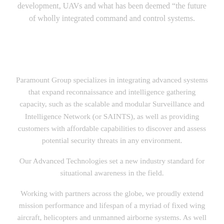development, UAVs and what has been deemed “the future of wholly integrated command and control systems.
Paramount Group specializes in integrating advanced systems that expand reconnaissance and intelligence gathering capacity, such as the scalable and modular Surveillance and Intelligence Network (or SAINTS), as well as providing customers with affordable capabilities to discover and assess potential security threats in any environment.
Our Advanced Technologies set a new industry standard for situational awareness in the field.
Working with partners across the globe, we proudly extend mission performance and lifespan of a myriad of fixed wing aircraft, helicopters and unmanned airborne systems. As well as